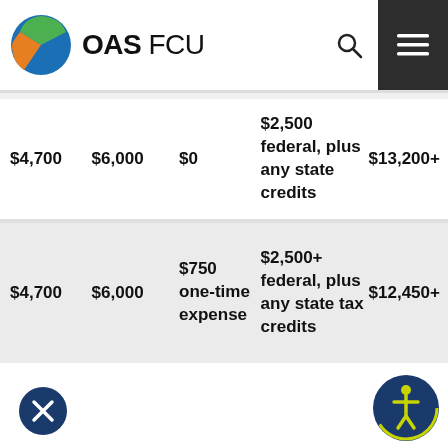[Figure (logo): OAS FCU logo with colorful sphere icon and search/menu icons in header]
| $4,700 | $6,000 | $0 | $2,500 federal, plus any state credits | $13,200+ |
| $4,700 | $6,000 | $750 one-time expense | $2,500+ federal, plus any state tax credits | $12,450+ |